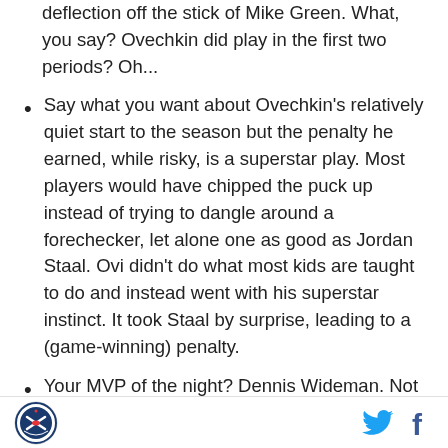deflection off the stick of Mike Green. What, you say? Ovechkin did play in the first two periods? Oh...
Say what you want about Ovechkin's relatively quiet start to the season but the penalty he earned, while risky, is a superstar play. Most players would have chipped the puck up instead of trying to dangle around a forechecker, let alone one as good as Jordan Staal. Ovi didn't do what most kids are taught to do and instead went with his superstar instinct. It took Staal by surprise, leading to a (game-winning) penalty.
Your MVP of the night? Dennis Wideman. Not only did he ice the game-winning OT goal, but with four